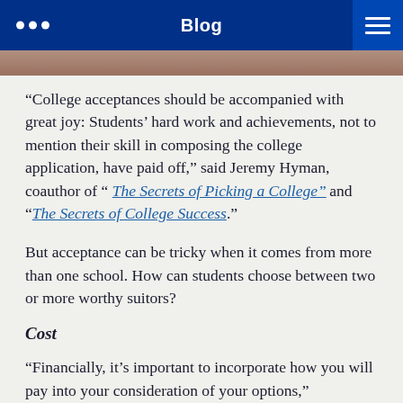Blog
“College acceptances should be accompanied with great joy: Students’ hard work and achievements, not to mention their skill in composing the college application, have paid off,” said Jeremy Hyman, coauthor of “ The Secrets of Picking a College” and “The Secrets of College Success.”
But acceptance can be tricky when it comes from more than one school. How can students choose between two or more worthy suitors?
Cost
“Financially, it’s important to incorporate how you will pay into your consideration of your options,”